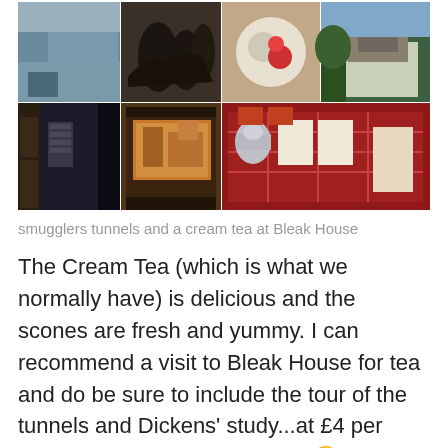[Figure (photo): Photo collage of 11 images showing smugglers tunnels, Bleak House, cream tea, and related scenes arranged in a 3-row grid]
smugglers tunnels and a cream tea at Bleak House
The Cream Tea (which is what we normally have) is delicious and the scones are fresh and yummy. I can recommend a visit to Bleak House for tea and do be sure to include the tour of the tunnels and Dickens' study...at £4 per person for the tour, it's a steal 😉  Although you can order the Cream Tea on a whim...NB if you wish to partake of the Afternoon Tea at Bleak House you would